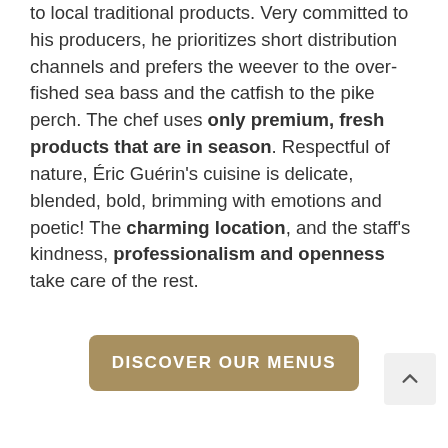to local traditional products. Very committed to his producers, he prioritizes short distribution channels and prefers the weever to the over-fished sea bass and the catfish to the pike perch. The chef uses only premium, fresh products that are in season. Respectful of nature, Éric Guérin's cuisine is delicate, blended, bold, brimming with emotions and poetic! The charming location, and the staff's kindness, professionalism and openness take care of the rest.
DISCOVER OUR MENUS